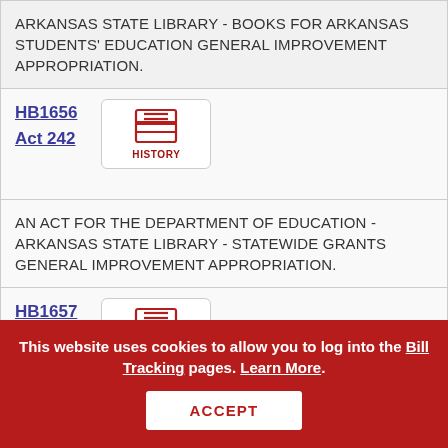ARKANSAS STATE LIBRARY - BOOKS FOR ARKANSAS STUDENTS' EDUCATION GENERAL IMPROVEMENT APPROPRIATION.
HB1656
Act 242
[Figure (other): HISTORY button with inbox tray icon]
AN ACT FOR THE DEPARTMENT OF EDUCATION - ARKANSAS STATE LIBRARY - STATEWIDE GRANTS GENERAL IMPROVEMENT APPROPRIATION.
HB1657
Act 243
[Figure (other): HISTORY button with inbox tray icon]
This website uses cookies to allow you to log into the Bill Tracking pages. Learn More.
ACCEPT